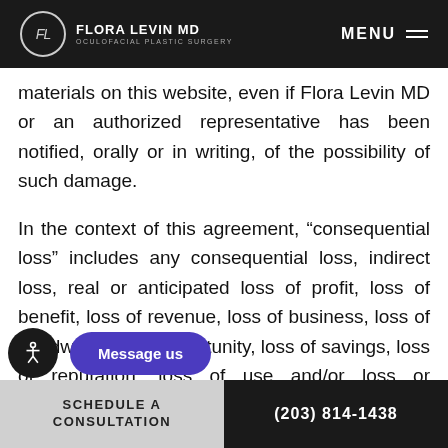FLORA LEVIN MD OCULOFACIAL PLASTIC SURGERY | MENU
materials on this website, even if Flora Levin MD or an authorized representative has been notified, orally or in writing, of the possibility of such damage.
In the context of this agreement, “consequential loss” includes any consequential loss, indirect loss, real or anticipated loss of profit, loss of benefit, loss of revenue, loss of business, loss of goodwill, loss of opportunity, loss of savings, loss of reputation, loss of use and/or loss or disruption whether under statute, contract, tort (including negligence),
SCHEDULE A CONSULTATION | (203) 814-1438